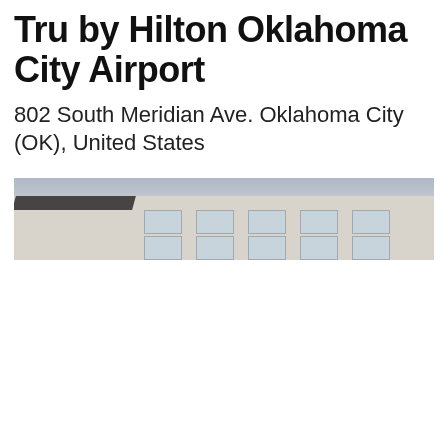Tru by Hilton Oklahoma City Airport
802 South Meridian Ave. Oklahoma City (OK), United States
[Figure (photo): Exterior photo of the Tru by Hilton Oklahoma City Airport hotel building facade, showing a multi-story beige/cream colored building with rectangular windows under a grey cloudy sky.]